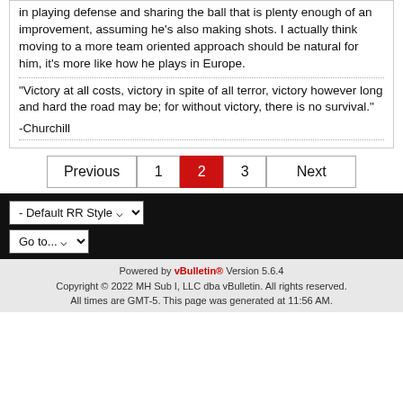in playing defense and sharing the ball that is plenty enough of an improvement, assuming he's also making shots. I actually think moving to a more team oriented approach should be natural for him, it's more like how he plays in Europe.
"Victory at all costs, victory in spite of all terror, victory however long and hard the road may be; for without victory, there is no survival."

-Churchill
Previous 1 2 3 Next
- Default RR Style
Go to...
Powered by vBulletin® Version 5.6.4
Copyright © 2022 MH Sub I, LLC dba vBulletin. All rights reserved.
All times are GMT-5. This page was generated at 11:56 AM.